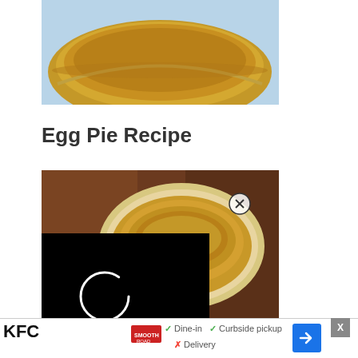[Figure (photo): Top portion of a baked egg pie or pastry with golden-brown crust, light blue background visible at top]
Egg Pie Recipe
[Figure (photo): Overhead view of a ceramic cup filled with coffee or cappuccino on a dark wooden surface, with a close (X) button overlay and a black loading video overlay showing a spinner circle]
KFC
✓ Dine-in  ✓ Curbside pickup
✗ Delivery